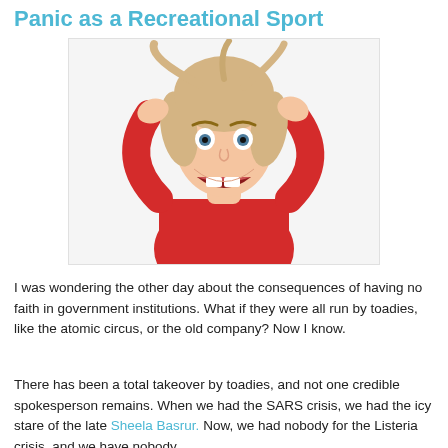Panic as a Recreational Sport
[Figure (photo): Woman with blonde hair wearing a red long-sleeve top, hands pulling her hair, mouth open wide in a scream/panic expression, on white background]
I was wondering the other day about the consequences of having no faith in government institutions. What if they were all run by toadies, like the atomic circus, or the old company? Now I know.
There has been a total takeover by toadies, and not one credible spokesperson remains. When we had the SARS crisis, we had the icy stare of the late Sheela Basrur. Now, we had nobody for the Listeria crisis, and we have nobody